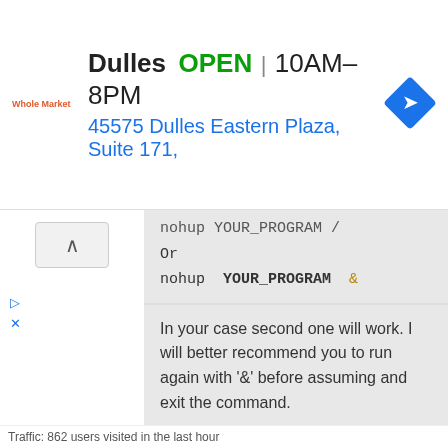[Figure (infographic): Advertisement banner for Dulles store showing name, open status, hours 10AM-8PM, address 45575 Dulles Eastern Plaza Suite 171, with a navigation direction icon]
nohup YOUR_PROGRAM /
Or
nohup YOUR_PROGRAM &
In your case second one will work. I will better recommend you to run again with '&' before assuming and exit the command.
ADD REPLY • link
5.0 years ago by EagleEye ⚡ 7.3k
Great, thank you very much, I am trying that now!
ADD REPLY • link
5.0 years ago by amy.bashir ▲ 110
Hello,
Traffic: 862 users visited in the last hour